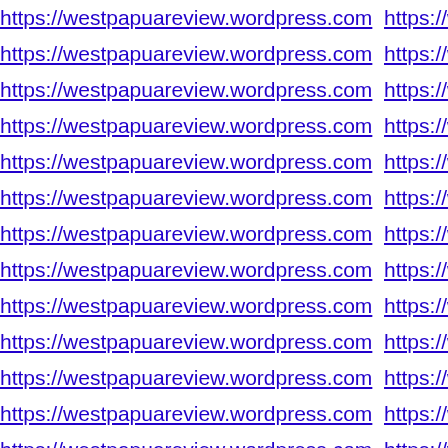https://westpapuareview.wordpress.com https://westpapuareview.wordpress.com (repeated ~25 times per row, 2 columns, truncated on right)